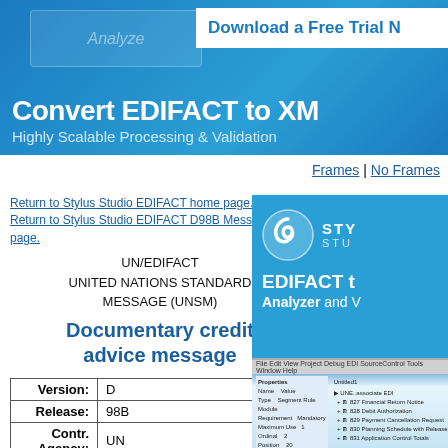[Figure (screenshot): Banner advertisement for EDIFACT to XML conversion software with blue gradient background. Shows 'Analyze' box, 'Download a Free Trial N...' text, 'Convert EDIFACT to XM...' large title, and 'Highly Scalable Processing & Validation' subtitle.]
Frames | No Frames
Return to Stylus Studio EDIFACT home page.
Return to Stylus Studio EDIFACT D98B Messages page.
UN/EDIFACT
UNITED NATIONS STANDARD MESSAGE (UNSM)
Documentary credit advice message
| Label | Value |
| --- | --- |
| Version: | D |
| Release: | 98B |
| Contr. Agency: | UN |
[Figure (screenshot): Stylus Studio EDIFACT to XML Analyzer and Validator product advertisement with teal/blue background showing logo, product name, and a software screenshot at the bottom.]